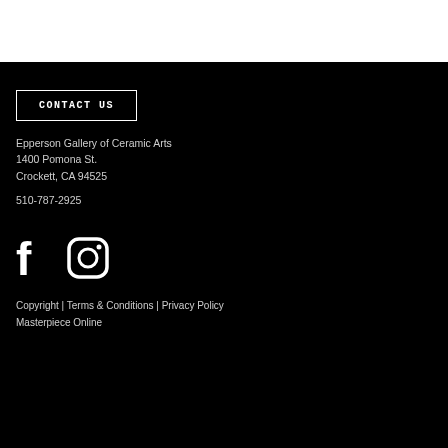CONTACT US
Epperson Gallery of Ceramic Arts
1400 Pomona St.
Crockett, CA 94525
510-787-2925
[Figure (illustration): Social media icons: Facebook (f) and Instagram camera logo, white on black background]
Copyright | Terms & Conditions | Privacy Policy
Masterpiece Online